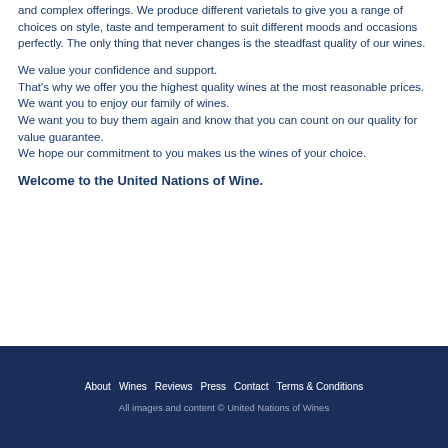and complex offerings. We produce different varietals to give you a range of choices on style, taste and temperament to suit different moods and occasions perfectly. The only thing that never changes is the steadfast quality of our wines.
We value your confidence and support.
That's why we offer you the highest quality wines at the most reasonable prices.
We want you to enjoy our family of wines.
We want you to buy them again and know that you can count on our quality for value guarantee.
We hope our commitment to you makes us the wines of your choice.
Welcome to the United Nations of Wine.
About  Wines  Reviews  Press  Contact  Terms & Conditions
All images and content © United Nations of Wines